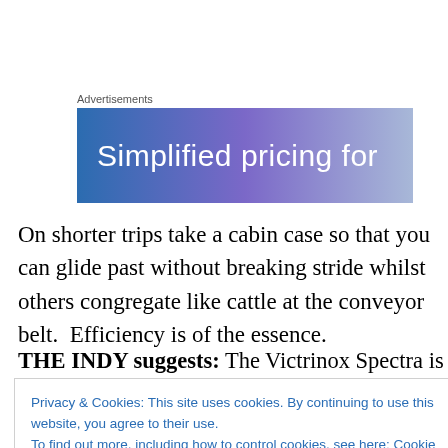Advertisements
[Figure (illustration): Advertisement banner with gradient blue-purple background and white text reading 'Simplified pricing for']
On shorter trips take a cabin case so that you can glide past without breaking stride whilst others congregate like cattle at the conveyor belt.  Efficiency is of the essence.
THE INDY suggests: The Victrinox Spectra is light, robust
Privacy & Cookies: This site uses cookies. By continuing to use this website, you agree to their use.
To find out more, including how to control cookies, see here: Cookie Policy
Close and accept